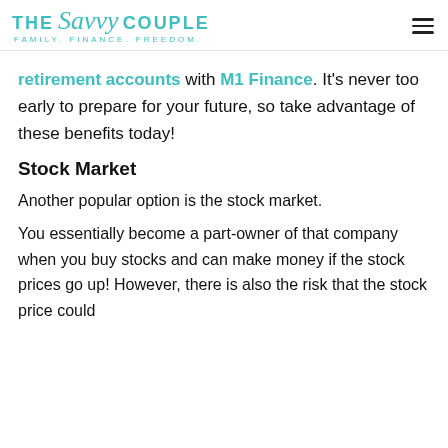THE Savvy COUPLE FAMILY. FINANCE. FREEDOM.
retirement accounts with M1 Finance. It's never too early to prepare for your future, so take advantage of these benefits today!
Stock Market
Another popular option is the stock market.
You essentially become a part-owner of that company when you buy stocks and can make money if the stock prices go up! However, there is also the risk that the stock price could